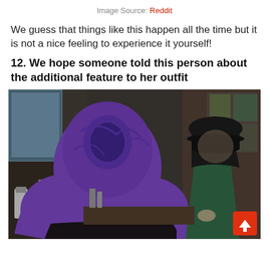Image Source: Reddit
We guess that things like this happen all the time but it is not a nice feeling to experience it yourself!
12. We hope someone told this person about the additional feature to her outfit
[Figure (photo): Photo taken inside a Starbucks store showing a person from behind wearing a purple hoodie with the hood up but inside-out or misshapen, exposing an odd pocket/hole shape. A Starbucks barista wearing a black cap, black top, and green apron is visible in the background behind the counter.]